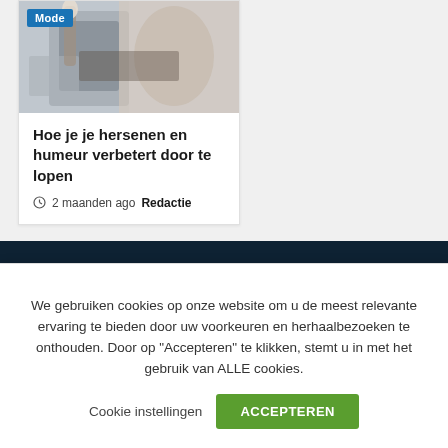[Figure (photo): Partial photo of shoes/fashion items with a 'Mode' category badge overlay in the top-left corner]
Hoe je je hersenen en humeur verbetert door te lopen
2 maanden ago  Redactie
Tips
We gebruiken cookies op onze website om u de meest relevante ervaring te bieden door uw voorkeuren en herhaalbezoeken te onthouden. Door op "Accepteren" te klikken, stemt u in met het gebruik van ALLE cookies.
Cookie instellingen  ACCEPTEREN